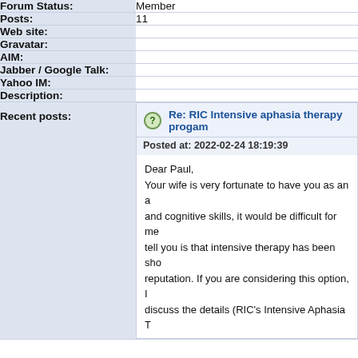| Field | Value |
| --- | --- |
| Forum Status: | Member |
| Posts: | 11 |
| Web site: |  |
| Gravatar: |  |
| AIM: |  |
| Jabber / Google Talk: |  |
| Yahoo IM: |  |
| Description: |  |
| Recent posts: | Re: RIC Intensive aphasia therapy progam
Posted at: 2022-02-24 18:19:39
Dear Paul,
Your wife is very fortunate to have you as an a... and cognitive skills, it would be difficult for me... tell you is that intensive therapy has been sho... reputation. If you are considering this option, I... discuss the details (RIC's Intensive Aphasia T... |